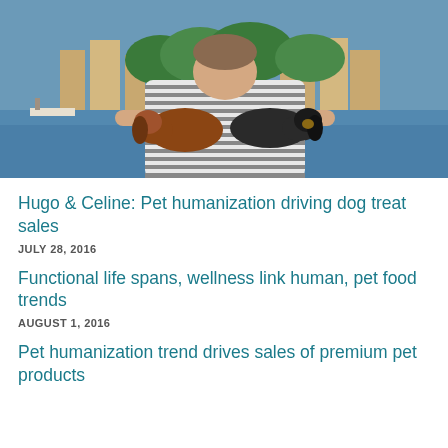[Figure (photo): Person in a striped shirt holding two dachshund dogs near a waterfront with boats and trees in the background]
Hugo & Celine: Pet humanization driving dog treat sales
JULY 28, 2016
Functional life spans, wellness link human, pet food trends
AUGUST 1, 2016
Pet humanization trend drives sales of premium pet products